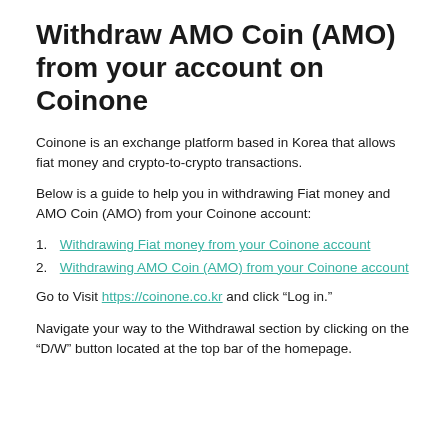Withdraw AMO Coin (AMO) from your account on Coinone
Coinone is an exchange platform based in Korea that allows fiat money and crypto-to-crypto transactions.
Below is a guide to help you in withdrawing Fiat money and AMO Coin (AMO) from your Coinone account:
1. Withdrawing Fiat money from your Coinone account
2. Withdrawing AMO Coin (AMO) from your Coinone account
Go to Visit https://coinone.co.kr and click “Log in.”
Navigate your way to the Withdrawal section by clicking on the “D/W” button located at the top bar of the homepage.